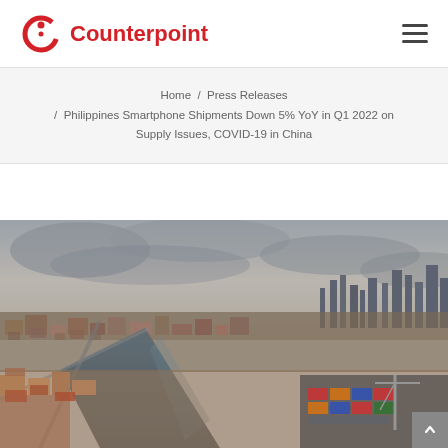Counterpoint
Home / Press Releases / Philippines Smartphone Shipments Down 5% YoY in Q1 2022 on Supply Issues, COVID-19 in China
[Figure (photo): Aerial view of Manila, Philippines showing a densely populated urban area with a river, port with shipping containers, and city skyline in the background under an overcast sky.]